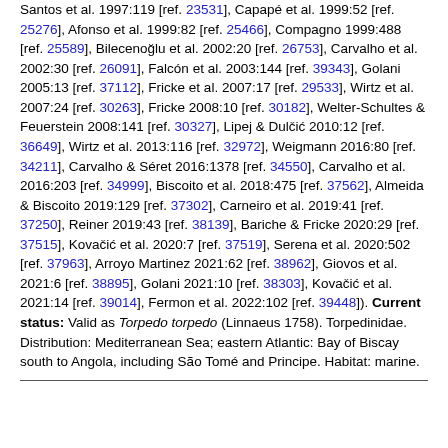Santos et al. 1997:119 [ref. 23531], Capapé et al. 1999:52 [ref. 25276], Afonso et al. 1999:82 [ref. 25466], Compagno 1999:488 [ref. 25589], Bilecenoğlu et al. 2002:20 [ref. 26753], Carvalho et al. 2002:30 [ref. 26091], Falcón et al. 2003:144 [ref. 39343], Golani 2005:13 [ref. 37112], Fricke et al. 2007:17 [ref. 29533], Wirtz et al. 2007:24 [ref. 30263], Fricke 2008:10 [ref. 30182], Welter-Schultes & Feuerstein 2008:141 [ref. 30327], Lipej & Dulčić 2010:12 [ref. 36649], Wirtz et al. 2013:116 [ref. 32972], Weigmann 2016:80 [ref. 34211], Carvalho & Séret 2016:1378 [ref. 34550], Carvalho et al. 2016:203 [ref. 34999], Biscoito et al. 2018:475 [ref. 37562], Almeida & Biscoito 2019:129 [ref. 37302], Carneiro et al. 2019:41 [ref. 37250], Reiner 2019:43 [ref. 38139], Bariche & Fricke 2020:29 [ref. 37515], Kovačić et al. 2020:7 [ref. 37519], Serena et al. 2020:502 [ref. 37963], Arroyo Martinez 2021:62 [ref. 38962], Giovos et al. 2021:6 [ref. 38895], Golani 2021:10 [ref. 38303], Kovačić et al. 2021:14 [ref. 39014], Fermon et al. 2022:102 [ref. 39448]). Current status: Valid as Torpedo torpedo (Linnaeus 1758). Torpedinidae. Distribution: Mediterranean Sea; eastern Atlantic: Bay of Biscay south to Angola, including São Tomé and Principe. Habitat: marine.